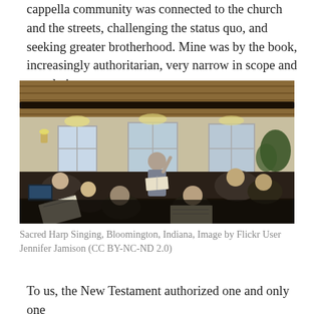cappella community was connected to the church and the streets, challenging the status quo, and seeking greater brotherhood. Mine was by the book, increasingly authoritarian, very narrow in scope and population.
[Figure (photo): Indoor Sacred Harp singing session. A man stands at the center of a circle of singers in a wood-paneled room with windows, holding an open book and raising one hand. Singers sit around him with sheet music.]
Sacred Harp Singing, Bloomington, Indiana, Image by Flickr User Jennifer Jamison (CC BY-NC-ND 2.0)
To us, the New Testament authorized one and only one